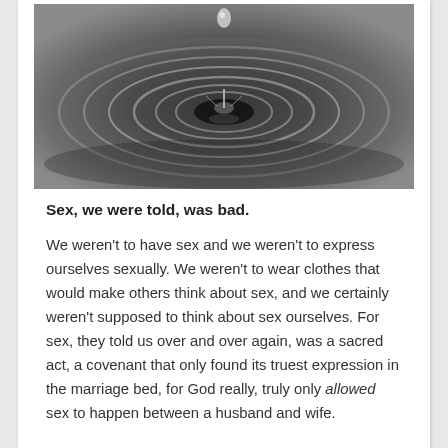[Figure (photo): Black and white close-up photograph of a water droplet falling and creating ripples on a water surface, with circular wave patterns emanating outward.]
Sex, we were told, was bad.
We weren't to have sex and we weren't to express ourselves sexually. We weren't to wear clothes that would make others think about sex, and we certainly weren't supposed to think about sex ourselves. For sex, they told us over and over again, was a sacred act, a covenant that only found its truest expression in the marriage bed, for God really, truly only allowed sex to happen between a husband and wife.